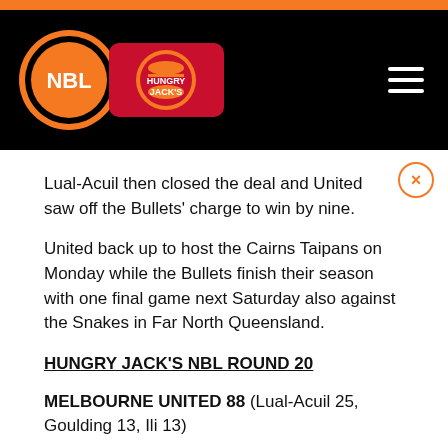[Figure (logo): NBL Hungry Jack's logo on black header background with hamburger menu icon]
Lual-Acuil then closed the deal and United saw off the Bullets' charge to win by nine.
United back up to host the Cairns Taipans on Monday while the Bullets finish their season with one final game next Saturday also against the Snakes in Far North Queensland.
HUNGRY JACK'S NBL ROUND 20
MELBOURNE UNITED 88 (Lual-Acuil 25, Goulding 13, Ili 13)
BRISBANE BULLETS 79 (Patterson 23, Cadee 20, Drmic 19)